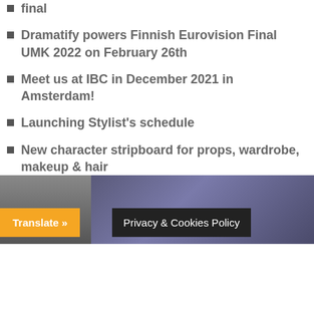final
Dramatify powers Finnish Eurovision Final UMK 2022 on February 26th
Meet us at IBC in December 2021 in Amsterdam!
Launching Stylist's schedule
New character stripboard for props, wardrobe, makeup & hair
More from the blog »
Latest on Instagram
[Figure (photo): Instagram photo partially visible at the bottom of the page with Translate and Privacy & Cookies Policy buttons overlaid]